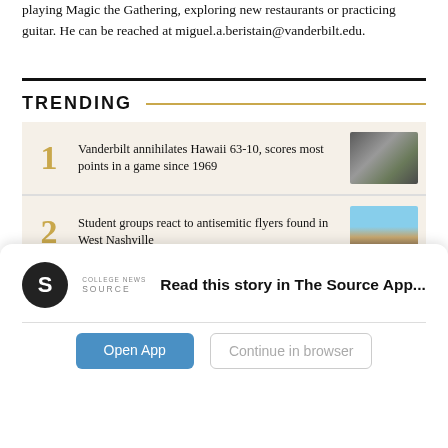playing Magic the Gathering, exploring new restaurants or practicing guitar. He can be reached at miguel.a.beristain@vanderbilt.edu.
TRENDING
1 Vanderbilt annihilates Hawaii 63-10, scores most points in a game since 1969
2 Student groups react to antisemitic flyers found in West Nashville
3 HARRIS: Gillette is not a death sentence
Read this story in The Source App...
Open App   Continue in browser